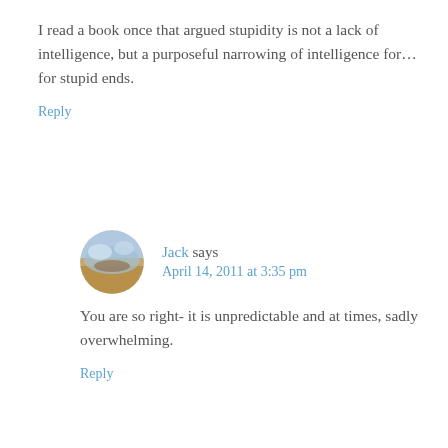I read a book once that argued stupidity is not a lack of intelligence, but a purposeful narrowing of intelligence for... for stupid ends.
Reply
Jack says April 14, 2011 at 3:35 pm
You are so right- it is unpredictable and at times, sadly overwhelming.
Reply